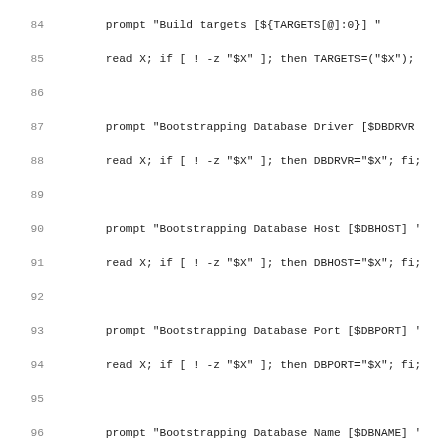Code listing lines 84–115, shell script with prompt and writeConfig functions